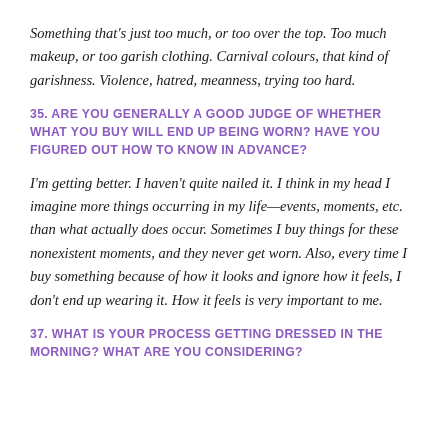Something that's just too much, or too over the top. Too much makeup, or too garish clothing. Carnival colours, that kind of garishness. Violence, hatred, meanness, trying too hard.
35. ARE YOU GENERALLY A GOOD JUDGE OF WHETHER WHAT YOU BUY WILL END UP BEING WORN? HAVE YOU FIGURED OUT HOW TO KNOW IN ADVANCE?
I'm getting better. I haven't quite nailed it. I think in my head I imagine more things occurring in my life—events, moments, etc. than what actually does occur. Sometimes I buy things for these nonexistent moments, and they never get worn. Also, every time I buy something because of how it looks and ignore how it feels, I don't end up wearing it. How it feels is very important to me.
37. WHAT IS YOUR PROCESS GETTING DRESSED IN THE MORNING? WHAT ARE YOU CONSIDERING?